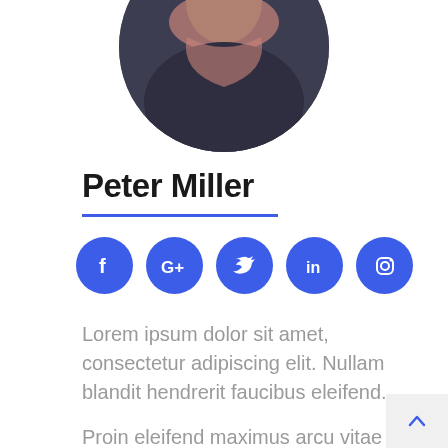[Figure (photo): Circular cropped profile photo of a person wearing a dark knit sweater and pink scarf]
Peter Miller
[Figure (infographic): Row of five blue circular social media icon buttons: Facebook, Google+, Twitter, LinkedIn, Instagram]
Lorem ipsum dolor sit amet, consectetur adipiscing elit. Nullam blandit hendrerit faucibus eleifend.
Proin eleifend maximus arcu vitae pretium. Vestibulum ante ipsum primis in faucibus